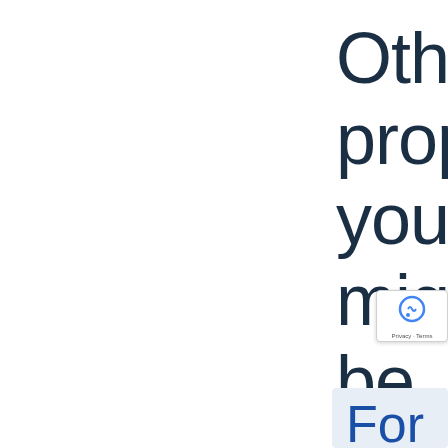Other properties you might be interested in
For Sale